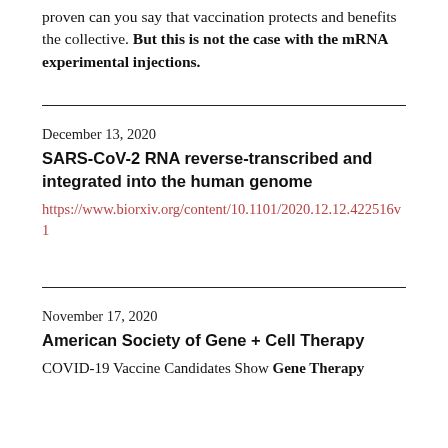proven can you say that vaccination protects and benefits the collective. But this is not the case with the mRNA experimental injections.
December 13, 2020
SARS-CoV-2 RNA reverse-transcribed and integrated into the human genome
https://www.biorxiv.org/content/10.1101/2020.12.12.422516v1
November 17, 2020
American Society of Gene + Cell Therapy
COVID-19 Vaccine Candidates Show Gene Therapy